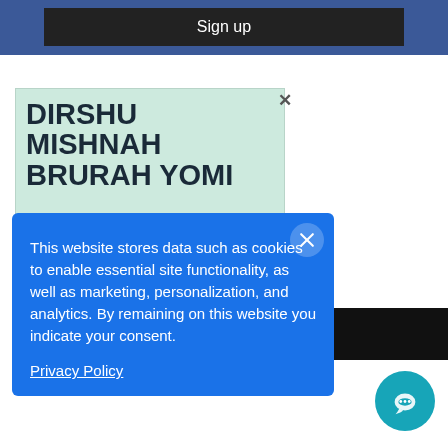[Figure (screenshot): Sign up button on dark background within a blue social media bar]
[Figure (illustration): Advertisement for Dirshu Mishnah Brurah Yomi by Rabbi Aaron E. Glatt, MD on mint green background]
This website stores data such as cookies to enable essential site functionality, as well as marketing, personalization, and analytics. By remaining on this website you indicate your consent.
Privacy Policy